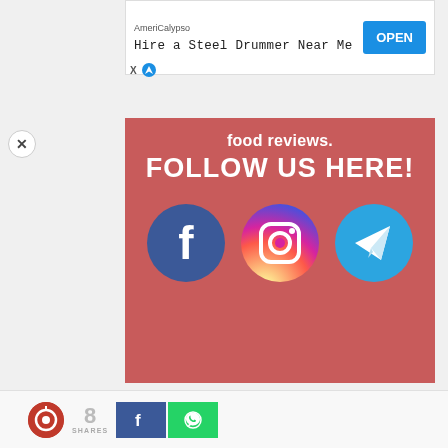[Figure (infographic): Ad banner for AmeriCalypso: Hire a Steel Drummer Near Me with OPEN button]
[Figure (infographic): Social media follow panel with pink/red background showing 'food reviews. FOLLOW US HERE!' and Facebook, Instagram, Telegram icons]
8 SHARES with Facebook and Twitter share buttons
[Figure (infographic): Bottom bar with logo, 8 SHARES, Facebook and WhatsApp buttons]